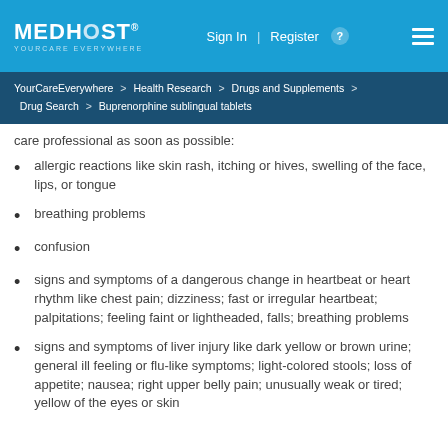MEDHOST YOURCARE EVERYWHERE | Sign In | Register
YourCareEverywhere > Health Research > Drugs and Supplements > Drug Search > Buprenorphine sublingual tablets
care professional as soon as possible:
allergic reactions like skin rash, itching or hives, swelling of the face, lips, or tongue
breathing problems
confusion
signs and symptoms of a dangerous change in heartbeat or heart rhythm like chest pain; dizziness; fast or irregular heartbeat; palpitations; feeling faint or lightheaded, falls; breathing problems
signs and symptoms of liver injury like dark yellow or brown urine; general ill feeling or flu-like symptoms; light-colored stools; loss of appetite; nausea; right upper belly pain; unusually weak or tired; yellow of the eyes or skin